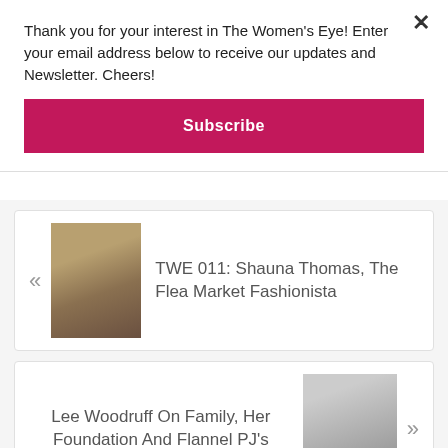Thank you for your interest in The Women's Eye! Enter your email address below to receive our updates and Newsletter. Cheers!
Subscribe
« TWE 011: Shauna Thomas, The Flea Market Fashionista
Lee Woodruff On Family, Her Foundation And Flannel PJ's »